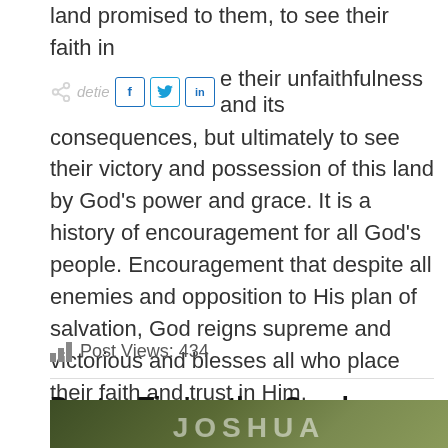land promised to them, to see their faith in de their unfaithfulness and its consequences, but ultimately to see their victory and possession of this land by God's power and grace. It is a history of encouragement for all God's people. Encouragement that despite all enemies and opposition to His plan of salvation, God reigns supreme and victorious and blesses all who place their faith and trust in Him.
Post Views: 434
Pastor Tim's other Sunday Bible study videos
[Figure (photo): Thumbnail image at the bottom of the page, greenish outdoor scene]